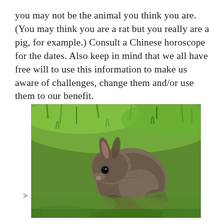you may not be the animal you think you are. (You may think you are a rat but you really are a pig, for example.) Consult a Chinese horoscope for the dates. Also keep in mind that we all have free will to use this information to make us aware of challenges, change them and/or use them to our benefit.
[Figure (photo): A small brown/grey rabbit sitting on green grass, viewed from a low angle. The rabbit is crouched down eating or sniffing the ground. A '>' symbol appears to the left of the image.]